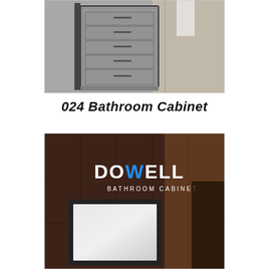[Figure (photo): Photo of a modern bathroom cabinet with multiple drawers in concrete/grey finish, shown in a bathroom setting with a white towel hanging]
024 Bathroom Cabinet
[Figure (photo): Marketing image showing DOWELL Bathroom Cabinet brand logo on dark brown wooden wall background, with a mirror cabinet with black frame visible in the lower portion]